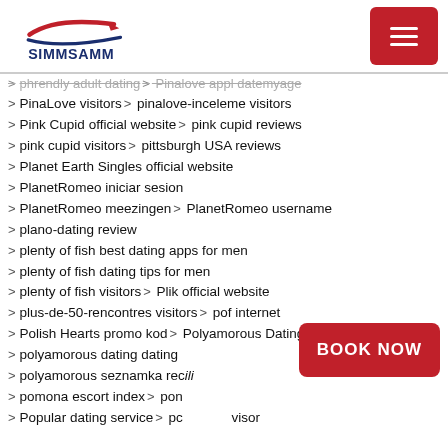SIMMSAMM
phrendly adult dating > Pinalove appl datemyage
PinaLove visitors > pinalove-inceleme visitors
Pink Cupid official website > pink cupid reviews
pink cupid visitors > pittsburgh USA reviews
Planet Earth Singles official website
PlanetRomeo iniciar sesion
PlanetRomeo meezingen > PlanetRomeo username
plano-dating review
plenty of fish best dating apps for men
plenty of fish dating tips for men
plenty of fish visitors > Plik official website
plus-de-50-rencontres visitors > pof internet
Polish Hearts promo kod > Polyamorous Dating apps
polyamorous dating dating
polyamorous seznamka recili...
pomona escort index > pon...
Popular dating service > po...visor